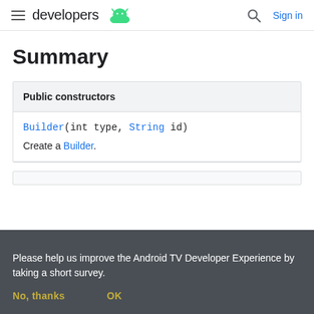developers [android logo] | Search | Sign in
Summary
| Public constructors |
| --- |
| Builder(int type, String id) | Create a Builder. |
Please help us improve the Android TV Developer Experience by taking a short survey.
No, thanks   OK